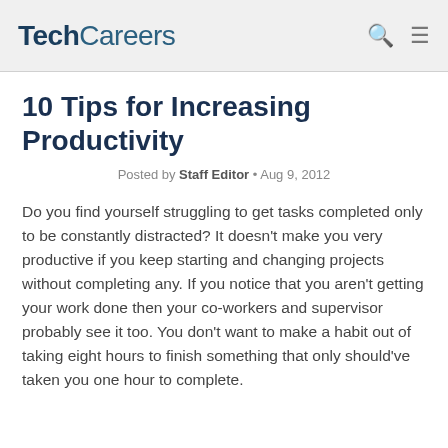TechCareers
10 Tips for Increasing Productivity
Posted by Staff Editor • Aug 9, 2012
Do you find yourself struggling to get tasks completed only to be constantly distracted? It doesn't make you very productive if you keep starting and changing projects without completing any. If you notice that you aren't getting your work done then your co-workers and supervisor probably see it too. You don't want to make a habit out of taking eight hours to finish something that only should've taken you one hour to complete.